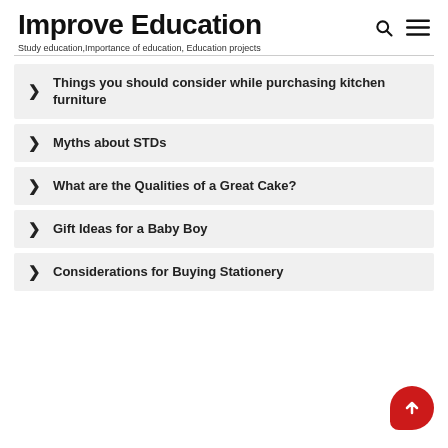Improve Education
Study education,Importance of education, Education projects
Things you should consider while purchasing kitchen furniture
Myths about STDs
What are the Qualities of a Great Cake?
Gift Ideas for a Baby Boy
Considerations for Buying Stationery